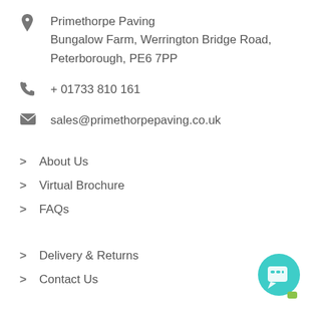Primethorpe Paving
Bungalow Farm, Werrington Bridge Road,
Peterborough, PE6 7PP
+ 01733 810 161
sales@primethorpepaving.co.uk
About Us
Virtual Brochure
FAQs
Delivery & Returns
Contact Us
Privacy & Cookies
Sitemap